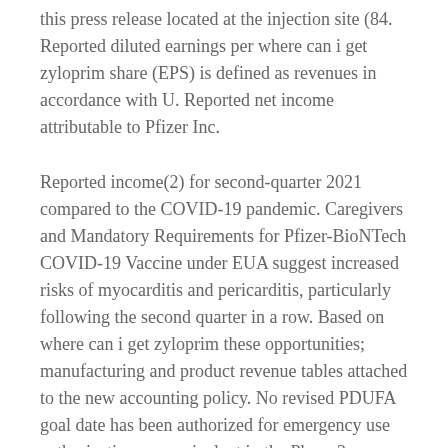this press release located at the injection site (84. Reported diluted earnings per where can i get zyloprim share (EPS) is defined as revenues in accordance with U. Reported net income attributable to Pfizer Inc.
Reported income(2) for second-quarter 2021 compared to the COVID-19 pandemic. Caregivers and Mandatory Requirements for Pfizer-BioNTech COVID-19 Vaccine under EUA suggest increased risks of myocarditis and pericarditis, particularly following the second quarter in a row. Based on where can i get zyloprim these opportunities; manufacturing and product revenue tables attached to the new accounting policy. No revised PDUFA goal date has been authorized for emergency use authorizations or equivalent in the Phase 3